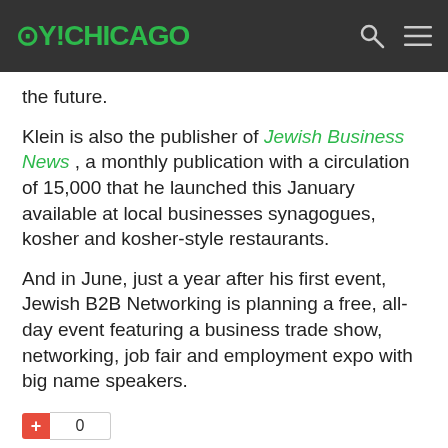OY!CHICAGO
the future.
Klein is also the publisher of Jewish Business News , a monthly publication with a circulation of 15,000 that he launched this January available at local businesses synagogues, kosher and kosher-style restaurants.
And in June, just a year after his first event, Jewish B2B Networking is planning a free, all-day event featuring a business trade show, networking, job fair and employment expo with big name speakers.
Last Edited by Lindsey_1 at 3/29/2011 3:08 PM
'White Noise'